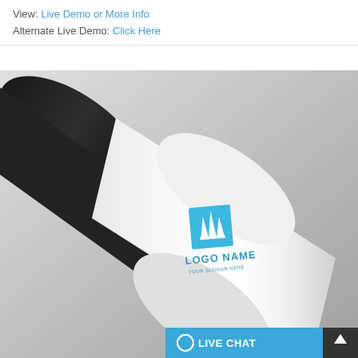View: Live Demo or More Info
Alternate Live Demo: Click Here
[Figure (photo): 3D mockup of a white cylindrical canister resting against a black cylindrical tube on a grey background. The white cylinder has a blue logo with bar-chart style icon, text 'LOGO NAME' and 'YOUR SLOGAN HERE' printed on it. A blue 'LIVE CHAT' button appears in the bottom right corner.]